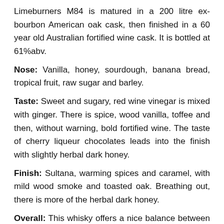Limeburners M84 is matured in a 200 litre ex-bourbon American oak cask, then finished in a 60 year old Australian fortified wine cask. It is bottled at 61%abv.
Nose: Vanilla, honey, sourdough, banana bread, tropical fruit, raw sugar and barley.
Taste: Sweet and sugary, red wine vinegar is mixed with ginger. There is spice, wood vanilla, toffee and then, without warning, bold fortified wine. The taste of cherry liqueur chocolates leads into the finish with slightly herbal dark honey.
Finish: Sultana, warming spices and caramel, with mild wood smoke and toasted oak. Breathing out, there is more of the herbal dark honey.
Overall: This whisky offers a nice balance between ex-bourbon and ex-fortified wine cask influence – you beauty 👍👍